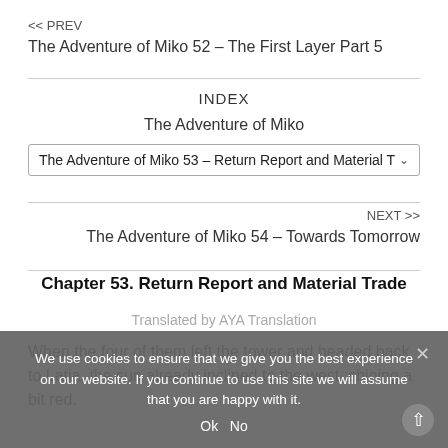<< PREV
The Adventure of Miko 52 – The First Layer Part 5
INDEX
The Adventure of Miko
The Adventure of Miko 53 – Return Report and Material T…
NEXT >>
The Adventure of Miko 54 – Towards Tomorrow
Chapter 53. Return Report and Material Trade
Translated by AYA Translation
When the four of them left the tower and headed back to Latia, the sun already inclined to the west, shining a bit red.
We use cookies to ensure that we give you the best experience on our website. If you continue to use this site we will assume that you are happy with it.